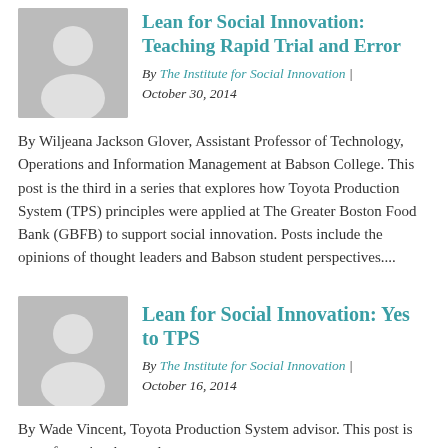[Figure (illustration): Grey placeholder avatar icon with a person silhouette]
Lean for Social Innovation: Teaching Rapid Trial and Error
By The Institute for Social Innovation | October 30, 2014
By Wiljeana Jackson Glover, Assistant Professor of Technology, Operations and Information Management at Babson College. This post is the third in a series that explores how Toyota Production System (TPS) principles were applied at The Greater Boston Food Bank (GBFB) to support social innovation. Posts include the opinions of thought leaders and Babson student perspectives....
[Figure (illustration): Grey placeholder avatar icon with a person silhouette]
Lean for Social Innovation: Yes to TPS
By The Institute for Social Innovation | October 16, 2014
By Wade Vincent, Toyota Production System advisor. This post is part of a series that explores